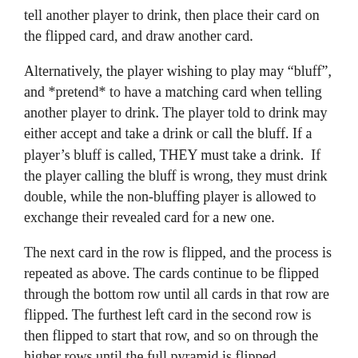tell another player to drink, then place their card on the flipped card, and draw another card.
Alternatively, the player wishing to play may “bluff”, and *pretend* to have a matching card when telling another player to drink. The player told to drink may either accept and take a drink or call the bluff. If a player’s bluff is called, THEY must take a drink.  If the player calling the bluff is wrong, they must drink double, while the non-bluffing player is allowed to exchange their revealed card for a new one.
The next card in the row is flipped, and the process is repeated as above. The cards continue to be flipped through the bottom row until all cards in that row are flipped. The furthest left card in the second row is then flipped to start that row, and so on through the higher rows until the full pyramid is flipped.